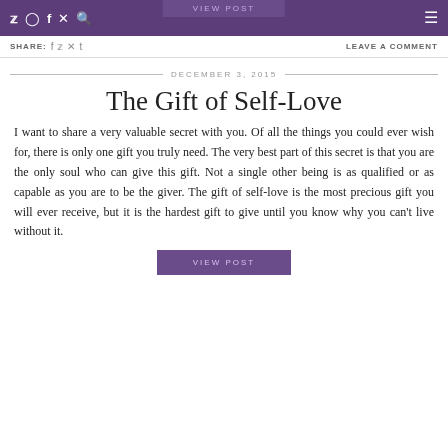Twitter Instagram Facebook Pinterest Search [menu]
SHARE: [social icons] LEAVE A COMMENT
DECEMBER 3, 2015
The Gift of Self-Love
I want to share a very valuable secret with you. Of all the things you could ever wish for, there is only one gift you truly need. The very best part of this secret is that you are the only soul who can give this gift. Not a single other being is as qualified or as capable as you are to be the giver. The gift of self-love is the most precious gift you will ever receive, but it is the hardest gift to give until you know why you can't live without it.
VIEW POST